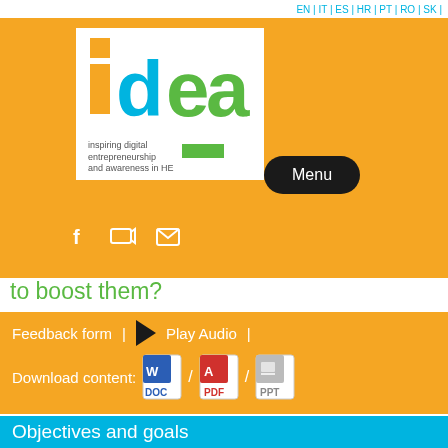EN | IT | ES | HR | PT | RO | SK |
[Figure (logo): IDEA logo with 'inspiring digital entrepreneurship and awareness in HE' tagline on white background]
Menu
[Figure (infographic): Social media icons: Facebook, YouTube, Email]
to boost them?
Feedback form  |     Play Audio  |
Download content:  DOC / PDF / PPT
Objectives and goals